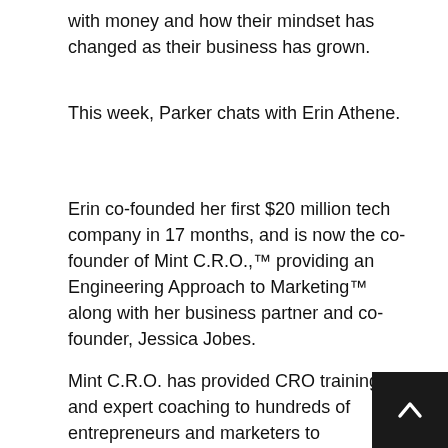with money and how their mindset has changed as their business has grown.
This week, Parker chats with Erin Athene.
Erin co-founded her first $20 million tech company in 17 months, and is now the co-founder of Mint C.R.O.,™ providing an Engineering Approach to Marketing™ along with her business partner and co-founder, Jessica Jobes.
Mint C.R.O. has provided CRO training and expert coaching to hundreds of entrepreneurs and marketers to accelerate growth, improve lead